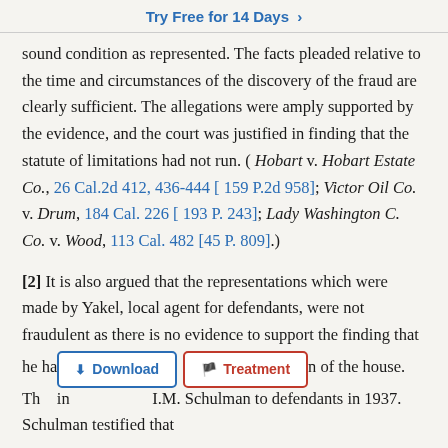Try Free for 14 Days ›
sound condition as represented. The facts pleaded relative to the time and circumstances of the discovery of the fraud are clearly sufficient. The allegations were amply supported by the evidence, and the court was justified in finding that the statute of limitations had not run. ( Hobart v. Hobart Estate Co., 26 Cal.2d 412, 436-444 [ 159 P.2d 958]; Victor Oil Co. v. Drum, 184 Cal. 226 [ 193 P. 243]; Lady Washington C. Co. v. Wood, 113 Cal. 482 [45 P. 809].)
[2] It is also argued that the representations which were made by Yakel, local agent for defendants, were not fraudulent as there is no evidence to support the finding that he ha[...] he [...] n of the house. Th[...] in[...] I.M. Schulman to defendants in 1937. Schulman testified that